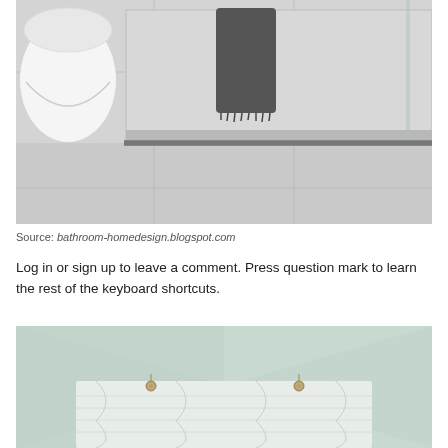[Figure (photo): Modern minimalist bathroom with gray concrete-look tiles, white wall-mounted toilet, built-in bathtub with dark gray towel draped over the edge, and a linear drain on the floor]
Source: bathroom-homedesign.blogspot.com
Log in or sign up to leave a comment. Press question mark to learn the rest of the keyboard shortcuts.
[Figure (photo): Bathroom interior with pale mint green walls and a gathered fabric Roman shade or valance in light fabric with small brass or gold hooks/rings]